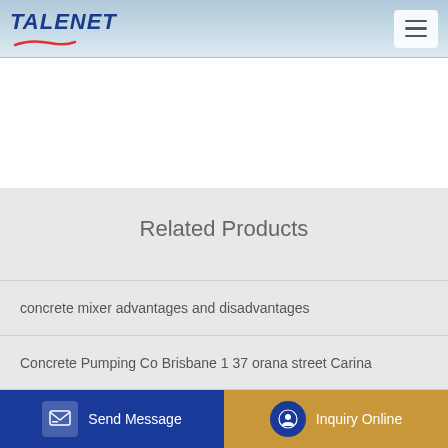TALENET
Related Products
concrete mixer advantages and disadvantages
Concrete Pumping Co Brisbane 1 37 orana street Carina
Cement hauling belt batching mix plant in Kuwait
asphalt hot mix plant price in kabul Hongying Js750 Asphalt
Send Message | Inquiry Online